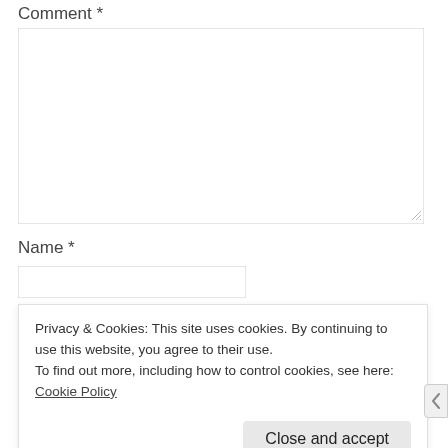Comment *
[Figure (screenshot): Comment textarea input box, empty, with resize handle at bottom right]
Name *
[Figure (screenshot): Name text input field, empty]
Email *
Privacy & Cookies: This site uses cookies. By continuing to use this website, you agree to their use.
To find out more, including how to control cookies, see here: Cookie Policy
Close and accept